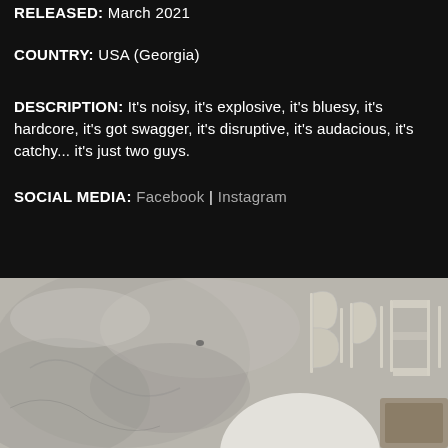RELEASED: March 2021
COUNTRY: USA (Georgia)
DESCRIPTION: It's noisy, it's explosive, it's bluesy, it's hardcore, it's got swagger, it's disruptive, it's audacious, it's catchy... it's just two guys.
SOCIAL MEDIA: Facebook | Instagram
------------------------------------------------------------------------------- #10
[Figure (photo): Album cover art showing a watercolor/ink wash background in grey tones with a stylized ornate band logo in the upper right corner]